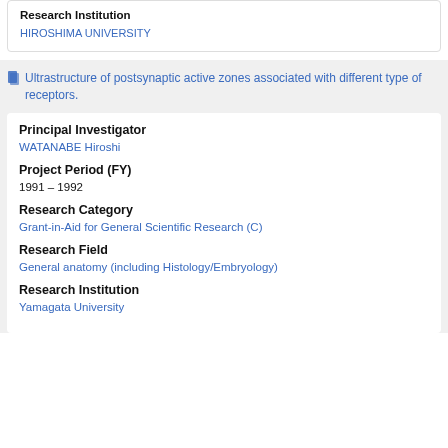Research Institution
HIROSHIMA UNIVERSITY
Ultrastructure of postsynaptic active zones associated with different type of receptors.
Principal Investigator
WATANABE Hiroshi
Project Period (FY)
1991 – 1992
Research Category
Grant-in-Aid for General Scientific Research (C)
Research Field
General anatomy (including Histology/Embryology)
Research Institution
Yamagata University